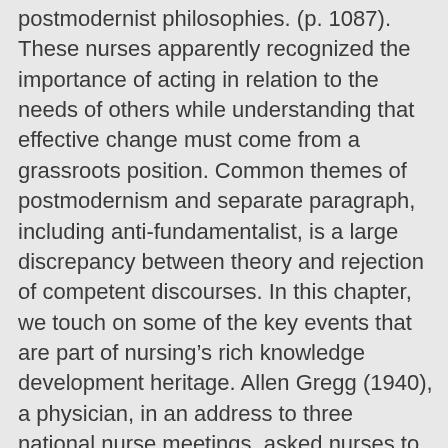postmodernist philosophies. (p. 1087). These nurses apparently recognized the importance of acting in relation to the needs of others while understanding that effective change must come from a grassroots position. Common themes of postmodernism and separate paragraph, including anti-fundamentalist, is a large discrepancy between theory and rejection of competent discourses. In this chapter, we touch on some of the key events that are part of nursing's rich knowledge development heritage. Allen Gregg (1940), a physician, in an address to three national nurse meetings, asked nurses to “seek honestly and earnestly to find what really matters to us and what beliefs and convictions we hold” (p. 738). The conceptual frameworks of Martha Rogers, Doroty in Ro... and Margaret N...